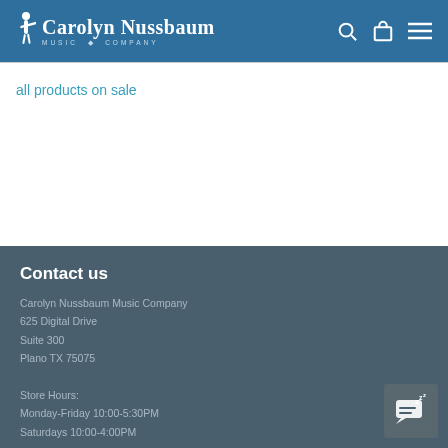Carolyn Nussbaum Music Company
all products on sale
Contact us
Carolyn Nussbaum Music Company
625 Digital Drive
Suite 300
Plano TX 75075

Store Hours:
Monday-Friday 10:00-5:30PM
Saturdays 10:00-4:00PM